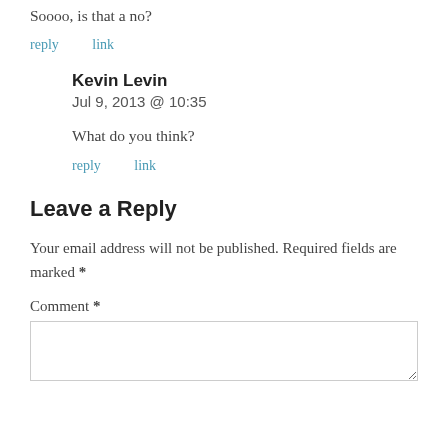Soooo, is that a no?
reply   link
Kevin Levin
Jul 9, 2013 @ 10:35
What do you think?
reply   link
Leave a Reply
Your email address will not be published. Required fields are marked *
Comment *